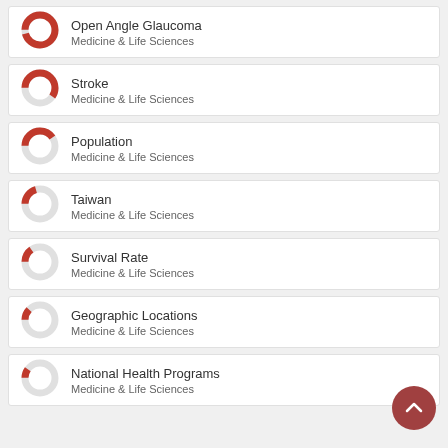[Figure (donut-chart): Donut chart nearly fully filled in red, Open Angle Glaucoma, Medicine & Life Sciences]
[Figure (donut-chart): Donut chart about 60% filled in red, Stroke, Medicine & Life Sciences]
[Figure (donut-chart): Donut chart about 40% filled in red, Population, Medicine & Life Sciences]
[Figure (donut-chart): Donut chart about 20% filled in red, Taiwan, Medicine & Life Sciences]
[Figure (donut-chart): Donut chart about 15% filled in red, Survival Rate, Medicine & Life Sciences]
[Figure (donut-chart): Donut chart about 12% filled in red, Geographic Locations, Medicine & Life Sciences]
[Figure (donut-chart): Donut chart about 10% filled in red, National Health Programs, Medicine & Life Sciences]